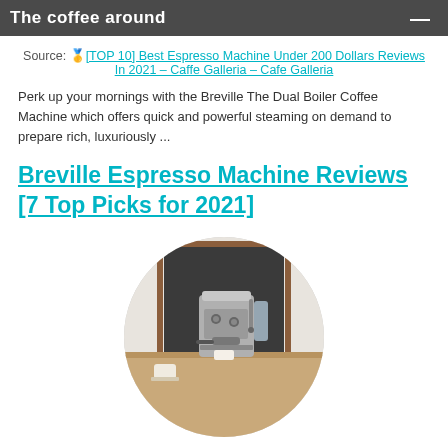The coffee around
Source: 🥇[TOP 10] Best Espresso Machine Under 200 Dollars Reviews In 2021 – Caffe Galleria – Cafe Galleria
Perk up your mornings with the Breville The Dual Boiler Coffee Machine which offers quick and powerful steaming on demand to prepare rich, luxuriously ...
Breville Espresso Machine Reviews [7 Top Picks for 2021]
[Figure (photo): Circular cropped photo of a Breville espresso machine on a wooden counter with a dark chalkboard background]